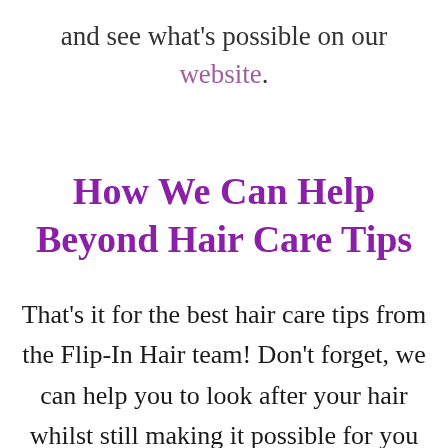and see what's possible on our website.
How We Can Help Beyond Hair Care Tips
That's it for the best hair care tips from the Flip-In Hair team! Don't forget, we can help you to look after your hair whilst still making it possible for you to switch up your style.